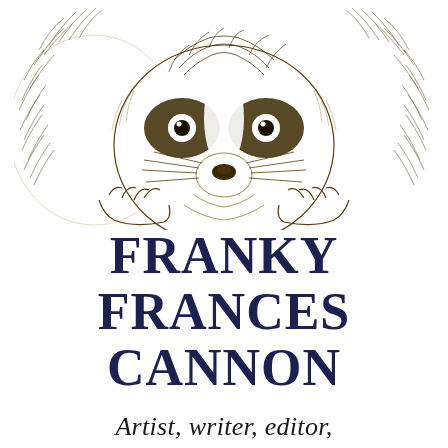[Figure (illustration): Ink drawing of a raccoon face peering over something, with fluffy fur, dark eye masks, and clawed paws visible, rendered in brown/sepia tones on white background]
FRANKY FRANCES CANNON
Artist, writer, editor,